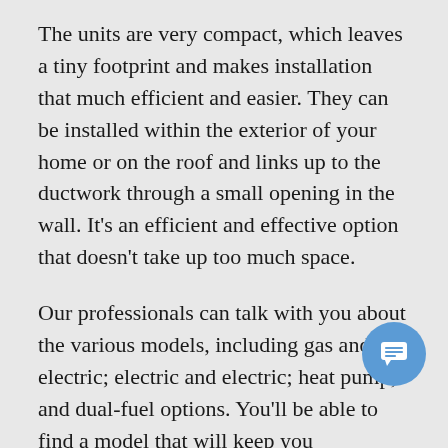The units are very compact, which leaves a tiny footprint and makes installation that much efficient and easier. They can be installed within the exterior of your home or on the roof and links up to the ductwork through a small opening in the wall. It's an efficient and effective option that doesn't take up too much space.
Our professionals can talk with you about the various models, including gas and electric; electric and electric; heat pump; and dual-fuel options. You'll be able to find a model that will keep you comfortable throughout the year, for whatever Mother Nature throws at you in Libertyville.
If you are unfamiliar with packaged units or just want to peruse the variety of solutions to match your heating and cooling needs, you are in the perfect place. You can contact TarTec Heating, Cooling, Plumbing & Electrical